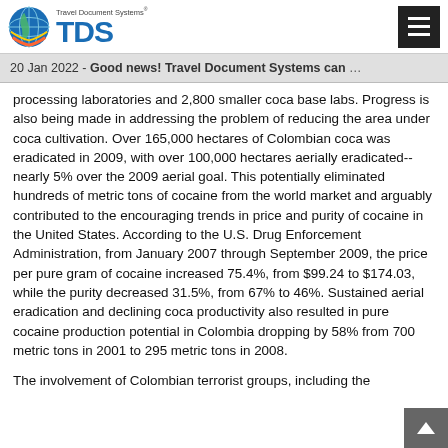Travel Document Systems TDS logo and navigation
20 Jan 2022 - Good news! Travel Document Systems can …
processing laboratories and 2,800 smaller coca base labs. Progress is also being made in addressing the problem of reducing the area under coca cultivation. Over 165,000 hectares of Colombian coca was eradicated in 2009, with over 100,000 hectares aerially eradicated--nearly 5% over the 2009 aerial goal. This potentially eliminated hundreds of metric tons of cocaine from the world market and arguably contributed to the encouraging trends in price and purity of cocaine in the United States. According to the U.S. Drug Enforcement Administration, from January 2007 through September 2009, the price per pure gram of cocaine increased 75.4%, from $99.24 to $174.03, while the purity decreased 31.5%, from 67% to 46%. Sustained aerial eradication and declining coca productivity also resulted in pure cocaine production potential in Colombia dropping by 58% from 700 metric tons in 2001 to 295 metric tons in 2008.
The involvement of Colombian terrorist groups, including the